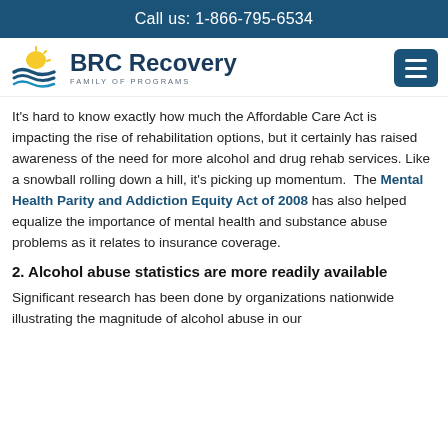Call us: 1-866-795-6534
[Figure (logo): BRC Recovery Family of Programs logo with sun and water wave graphic]
It’s hard to know exactly how much the Affordable Care Act is impacting the rise of rehabilitation options, but it certainly has raised awareness of the need for more alcohol and drug rehab services. Like a snowball rolling down a hill, it’s picking up momentum. The Mental Health Parity and Addiction Equity Act of 2008 has also helped equalize the importance of mental health and substance abuse problems as it relates to insurance coverage.
2. Alcohol abuse statistics are more readily available
Significant research has been done by organizations nationwide illustrating the magnitude of alcohol abuse in our